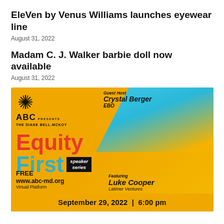EleVen by Venus Williams launches eyewear line
August 31, 2022
Madam C. J. Walker barbie doll now available
August 31, 2022
[Figure (infographic): ABC Presents The Diane Bell-McKoy Equity First Speaker Series advertisement. Guest Host Crystal Berger EBO. Featuring Luke Cooper Latimer Ventures. FREE www.abc-md.org Virtual Platform. September 29, 2022 | 6:00 pm]